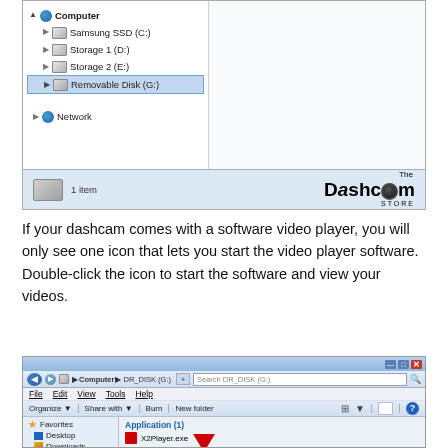[Figure (screenshot): Windows Explorer showing Computer tree with Samsung SSD (C:), Storage 1 (D:), Storage 2 (E:), Removable Disk (G:) selected, and Network. Status bar shows '1 item'. The Dashcam Store logo in bottom right.]
If your dashcam comes with a software video player, you will only see one icon that lets you start the video player software. Double-click the icon to start the software and view your videos.
[Figure (screenshot): Windows Explorer showing DR_DISK (G:) drive contents with Application (1) section containing X2Player.exe, with a red arrow pointing to the file.]